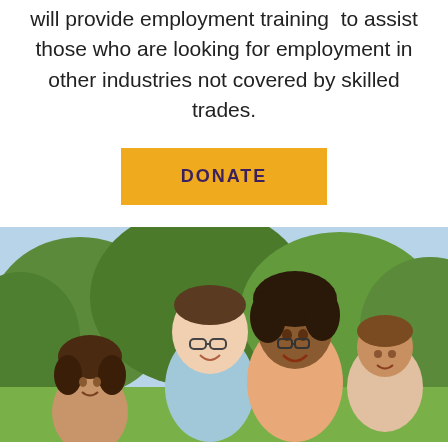will provide employment training to assist those who are looking for employment in other industries not covered by skilled trades.
[Figure (other): Yellow DONATE button]
[Figure (photo): A smiling family of four — a man with glasses, a woman with glasses, and two young children — photographed outdoors with green trees in the background.]